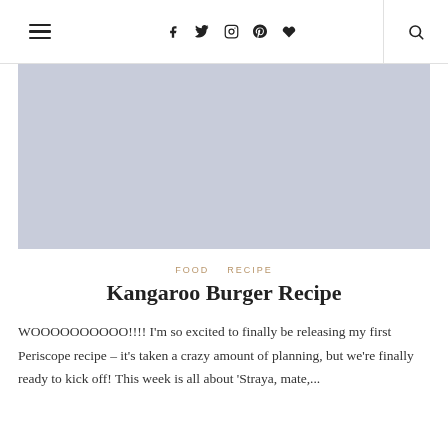≡  f  𝕏  ⊙  ⊕  ♥  🔍
[Figure (photo): Large rectangular placeholder image with light blue-grey background, representing a food photo for the Kangaroo Burger Recipe post]
FOOD   RECIPE
Kangaroo Burger Recipe
WOOOOOOOOOO!!!! I'm so excited to finally be releasing my first Periscope recipe – it's taken a crazy amount of planning, but we're finally ready to kick off! This week is all about 'Straya, mate,...